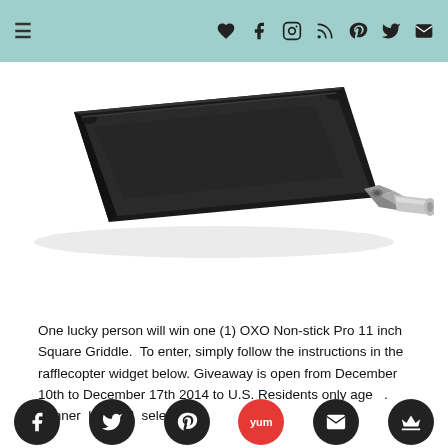Navigation bar with menu icon and social icons: heart, facebook, instagram, rss, pinterest, twitter, email
[Figure (photo): OXO Non-stick Pro 11 inch Square Griddle pan with silver handle, viewed from a slight angle on white background]
One lucky person will win one (1) OXO Non-stick Pro 11 inch Square Griddle.  To enter, simply follow the instructions in the rafflecopter widget below. Giveaway is open from December 10th to December 17th 2014 to U.S. Residents only age    Winner  be rand  selected
Social share icons: facebook, twitter, pinterest, yummly, email, crown